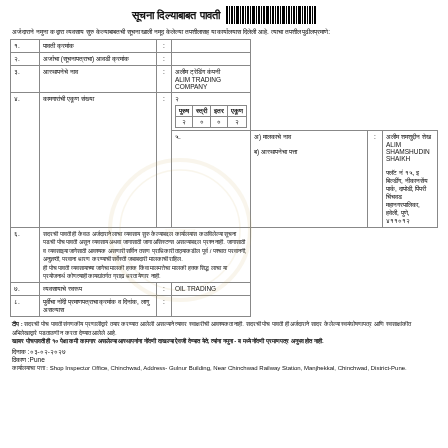सूचना दिल्याबाबत पावती
अर्जदाराने नमुना क द्वारा व्यवसाय सुरु केल्याबाबतची सूचना खाली नमूद केलेल्या तपशीलासह या कार्यालयास दिलेली आहे. त्याचा तपशील पुढीलप्रमाणे:
| क्र. | तपशील | : | माहिती |
| --- | --- | --- | --- |
| १. | पावती क्रमांक | : |  |
| २. | अर्जाचा (सूचनापत्राचा) आवडी क्रमांक | : |  |
| ३. | आस्थापनेचे नाव | : | अलीम ट्रेडिंग कंपनी
ALIM TRADING COMPANY |
| ४. | कामगारांची एकूण संख्या | : | २
[inner table: पुरुष:२, स्त्री:०, इतर:०, एकूण:२] |
| ५. | अ) मालकाचे नाव
ब) आस्थापनेचा पत्ता | : | अलीम शमशुद्दीन शेख
ALIM SHAMSHUDIN SHAIKH
फ्लॅट नं १५, इ बिल्डींग, नीकानसेंय पार्क, दापोडी, पिंपरी चिंचवड महानगरपालिका, हवेली, पुणे, ४११०१२ |
| ६. | [long disclaimer text] |  |  |
| ७. | व्यवसायाचे स्वरूप | : | OIL TRADING |
| ८. | पुर्वीचा नोंदी प्रमाणपत्राचा क्रमांक व दिनांक, लागु असल्यास | : |  |
टीप : सदरची पोच पावती संगणकीय प्रणालीद्वारे तयार करण्यात आलेली असल्याने त्यावर स्वाक्षरीची आवश्यकता नाही. सदरची पोच पावती ही अर्जदाराने सादर केलेल्या स्वयंघोषणापत्र आणि स्वसाक्षांकीत अभिलेखाद्वारे पडताळणी न करता देण्यात आलेले आहे.
खाबर पोचपावती ही १० पेक्षा कमी कामगार असलेल्या आस्थापनांना नोंदणी दाखल्या ऐवजी देण्यात येते, त्यांना नमुना - ब मध्ये नोंदणी प्रमाणपत्र अनुभव होत नाही.
दिनाक :०३-०२-२०२७
ठिकाण :Pune
कार्यालयाचा पत्ता : Shop Inspector Office, Chinchwad, Address- Gulnur Building, Near Chinchwad Railway Station, Manjhekkal, Chinchwad, District-Pune.